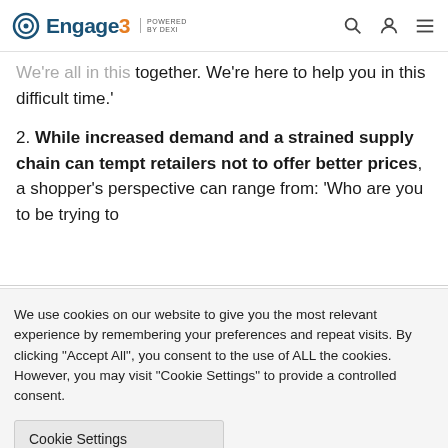Engage3 POWERED BY DEXI
promotional actions from Moving to our store. We're all in this together. We're here to help you in this difficult time.'
2. While increased demand and a strained supply chain can tempt retailers not to offer better prices, a shopper's perspective can range from: 'Who are you to be trying to
We use cookies on our website to give you the most relevant experience by remembering your preferences and repeat visits. By clicking "Accept All", you consent to the use of ALL the cookies. However, you may visit "Cookie Settings" to provide a controlled consent.